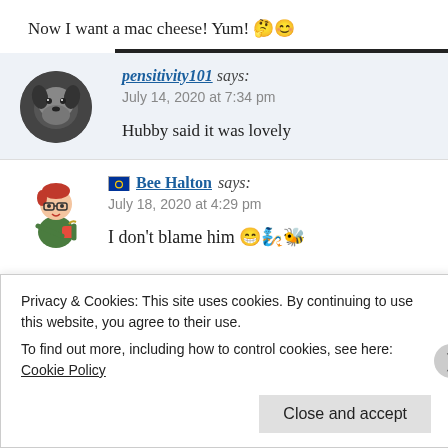Now I want a mac cheese! Yum! 🤔😊
pensitivity101 says:
July 14, 2020 at 7:34 pm

Hubby said it was lovely
Bee Halton says:
July 18, 2020 at 4:29 pm

I don't blame him 😁🧞🐝
Privacy & Cookies: This site uses cookies. By continuing to use this website, you agree to their use.
To find out more, including how to control cookies, see here: Cookie Policy
Close and accept